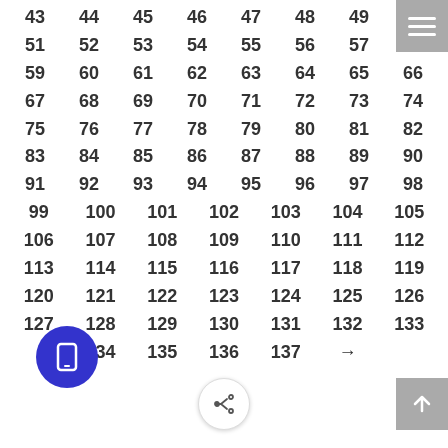| 43 | 44 | 45 | 46 | 47 | 48 | 49 | 50 |
| 51 | 52 | 53 | 54 | 55 | 56 | 57 | 58 |
| 59 | 60 | 61 | 62 | 63 | 64 | 65 | 66 |
| 67 | 68 | 69 | 70 | 71 | 72 | 73 | 74 |
| 75 | 76 | 77 | 78 | 79 | 80 | 81 | 82 |
| 83 | 84 | 85 | 86 | 87 | 88 | 89 | 90 |
| 91 | 92 | 93 | 94 | 95 | 96 | 97 | 98 |
| 99 | 100 | 101 | 102 | 103 | 104 | 105 |
| 106 | 107 | 108 | 109 | 110 | 111 | 112 |
| 113 | 114 | 115 | 116 | 117 | 118 | 119 |
| 120 | 121 | 122 | 123 | 124 | 125 | 126 |
| 127 | 128 | 129 | 130 | 131 | 132 | 133 |
|  | 134 | 135 | 136 | 137 | → |  |  |